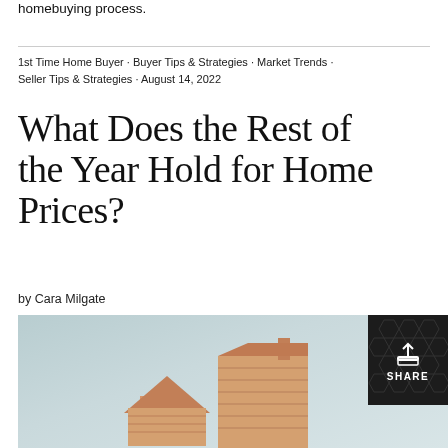homebuying process.
1st Time Home Buyer · Buyer Tips & Strategies · Market Trends · Seller Tips & Strategies · August 14, 2022
What Does the Rest of the Year Hold for Home Prices?
by Cara Milgate
[Figure (photo): Hero image showing two wooden house cutout shapes on a blue-grey gradient background, with a black SHARE button overlay in the top right corner.]